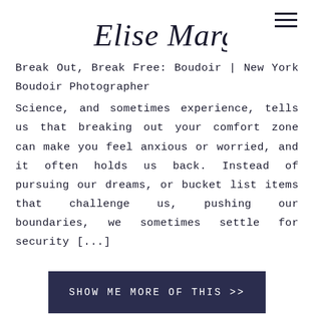Elise Margolin
Break Out, Break Free: Boudoir | New York Boudoir Photographer
Science, and sometimes experience, tells us that breaking out your comfort zone can make you feel anxious or worried, and it often holds us back. Instead of pursuing our dreams, or bucket list items that challenge us, pushing our boundaries, we sometimes settle for security [...]
SHOW ME MORE OF THIS >>